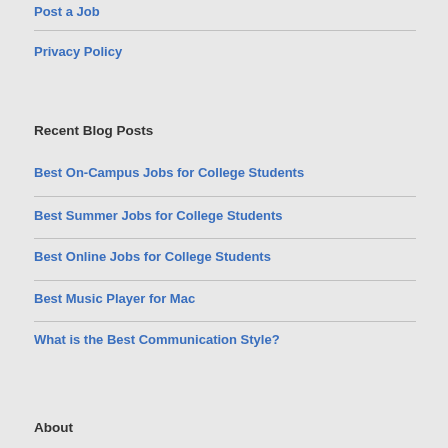Post a Job
Privacy Policy
Recent Blog Posts
Best On-Campus Jobs for College Students
Best Summer Jobs for College Students
Best Online Jobs for College Students
Best Music Player for Mac
What is the Best Communication Style?
About